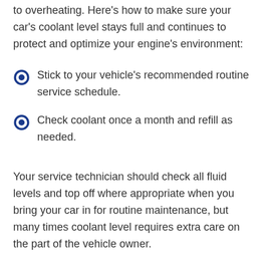to overheating. Here's how to make sure your car's coolant level stays full and continues to protect and optimize your engine's environment:
Stick to your vehicle's recommended routine service schedule.
Check coolant once a month and refill as needed.
Your service technician should check all fluid levels and top off where appropriate when you bring your car in for routine maintenance, but many times coolant level requires extra care on the part of the vehicle owner.
If you continually need to keep topping off coolant, this